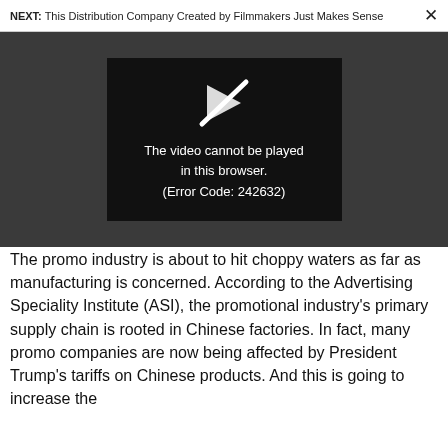NEXT: This Distribution Company Created by Filmmakers Just Makes Sense ×
[Figure (screenshot): Video player showing error message: 'The video cannot be played in this browser. (Error Code: 242632)' on dark background with a crossed-out play icon.]
The promo industry is about to hit choppy waters as far as manufacturing is concerned. According to the Advertising Speciality Institute (ASI), the promotional industry's primary supply chain is rooted in Chinese factories. In fact, many promo companies are now being affected by President Trump's tariffs on Chinese products. And this is going to increase the